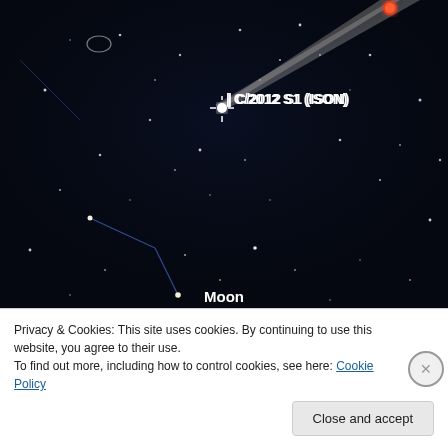[Figure (screenshot): Star map / astronomy app screenshot showing a dark night sky with labeled comet C/2012 S1 (ISON) with a bright tail, the Moon label at the bottom, stars scattered across the field, constellation lines in blue, and a planet (orange/red) in the upper right. A crosshair marks the comet position. White text labels 'C/2012 S1 (ISON)' and 'Moon' are visible.]
Privacy & Cookies: This site uses cookies. By continuing to use this website, you agree to their use.
To find out more, including how to control cookies, see here: Cookie Policy
Close and accept